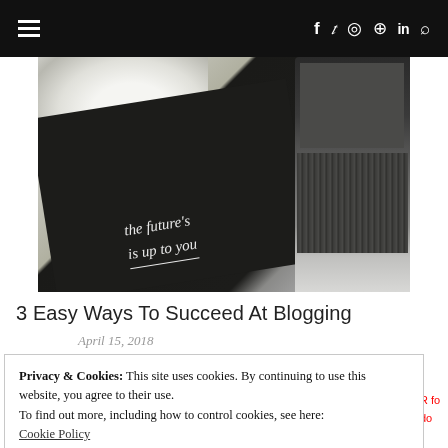≡  f  𝕥  ◎  ⊕  in  🔍
[Figure (photo): Flat lay photo of a dark notebook with handwritten white script text reading 'the future's' and partially 'is up to you', with white flowers and a MacBook laptop keyboard in the background.]
3 Easy Ways To Succeed At Blogging
April 15, 2018
Privacy & Cookies: This site uses cookies. By continuing to use this website, you agree to their use.
To find out more, including how to control cookies, see here:
Cookie Policy
Close and accept
LEAVE A REPLY